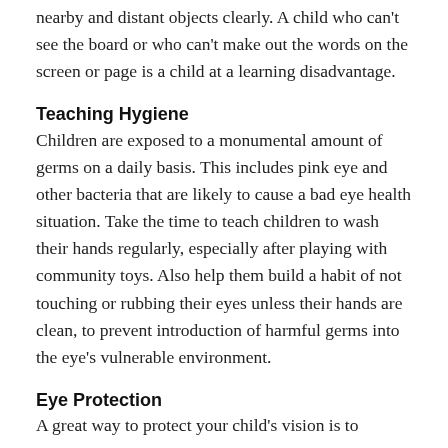nearby and distant objects clearly. A child who can't see the board or who can't make out the words on the screen or page is a child at a learning disadvantage.
Teaching Hygiene
Children are exposed to a monumental amount of germs on a daily basis. This includes pink eye and other bacteria that are likely to cause a bad eye health situation. Take the time to teach children to wash their hands regularly, especially after playing with community toys. Also help them build a habit of not touching or rubbing their eyes unless their hands are clean, to prevent introduction of harmful germs into the eye's vulnerable environment.
Eye Protection
A great way to protect your child's vision is to